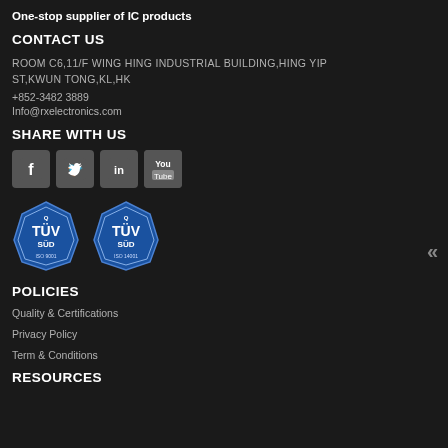One-stop supplier of IC products
CONTACT US
ROOM C6,11/F WING HING INDUSTRIAL BUILDING,HING YIP ST,KWUN TONG,KL,HK
+852-3482 3889
Info@rxelectronics.com
SHARE WITH US
[Figure (logo): Social media icons: Facebook, Twitter, LinkedIn, YouTube]
[Figure (logo): Two TUV SUD certification logos: ISO 9001 and ISO 14001]
POLICIES
Quality & Certifications
Privacy Policy
Term & Conditions
RESOURCES